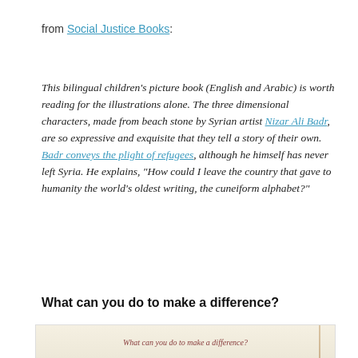from Social Justice Books:
This bilingual children's picture book (English and Arabic) is worth reading for the illustrations alone. The three dimensional characters, made from beach stone by Syrian artist Nizar Ali Badr, are so expressive and exquisite that they tell a story of their own. Badr conveys the plight of refugees, although he himself has never left Syria. He explains, "How could I leave the country that gave to humanity the world's oldest writing, the cuneiform alphabet?"
What can you do to make a difference?
[Figure (illustration): Book cover or interior image with text 'What can you do to make a difference?' in italic serif font on a beige/cream background with a decorative map line element on the right side.]